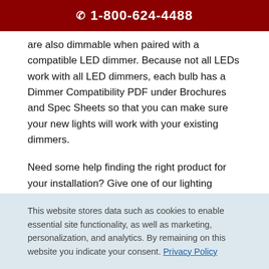1-800-624-4488
are also dimmable when paired with a compatible LED dimmer. Because not all LEDs work with all LED dimmers, each bulb has a Dimmer Compatibility PDF under Brochures and Spec Sheets so that you can make sure your new lights will work with your existing dimmers.
Need some help finding the right product for your installation? Give one of our lighting experts a call. We'll be happy to walk you through all of your options.
[Figure (logo): 1000Bulbs.com logo, partial view]
This website stores data such as cookies to enable essential site functionality, as well as marketing, personalization, and analytics. By remaining on this website you indicate your consent. Privacy Policy